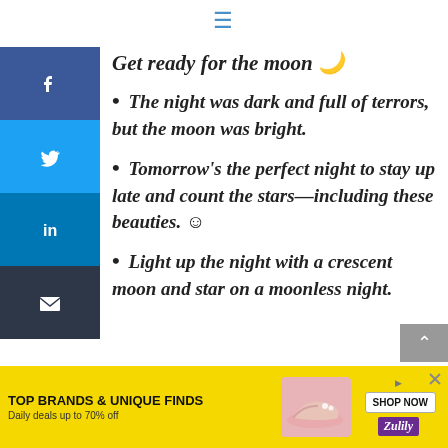≡
Get ready for the moon 🌙
The night was dark and full of terrors, but the moon was bright.
Tomorrow's the perfect night to stay up late and count the stars—including these beauties. 😊
Light up the night with a crescent moon and star on a moonless night.
[Figure (screenshot): Advertisement banner: yellow background with 'TOP BRANDS & UNIQUE FINDS' text, 'Daily deals up to 70% off', shoe image, SHOP NOW button, and Zulily logo]